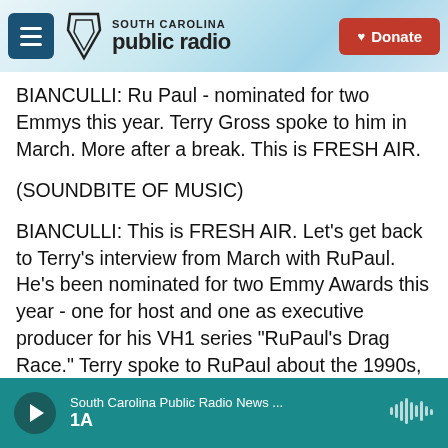[Figure (screenshot): South Carolina Public Radio website header with hamburger menu, logo, and Donate button]
BIANCULLI: Ru Paul - nominated for two Emmys this year. Terry Gross spoke to him in March. More after a break. This is FRESH AIR.
(SOUNDBITE OF MUSIC)
BIANCULLI: This is FRESH AIR. Let's get back to Terry's interview from March with RuPaul. He's been nominated for two Emmy Awards this year - one for host and one as executive producer for his VH1 series "RuPaul's Drag Race." Terry spoke to RuPaul about the 1990s, after his move to New York when he went from his punk-rock style of drag
South Carolina Public Radio News ... 1A